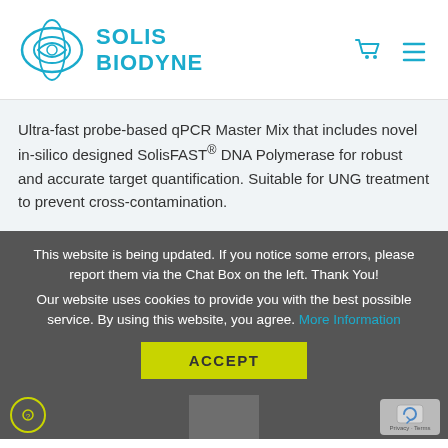[Figure (logo): Solis BioDyne logo with circular graphic and blue text]
Ultra-fast probe-based qPCR Master Mix that includes novel in-silico designed SolisFAST® DNA Polymerase for robust and accurate target quantification. Suitable for UNG treatment to prevent cross-contamination.
This website is being updated. If you notice some errors, please report them via the Chat Box on the left. Thank You! Our website uses cookies to provide you with the best possible service. By using this website, you agree. More Information
ACCEPT